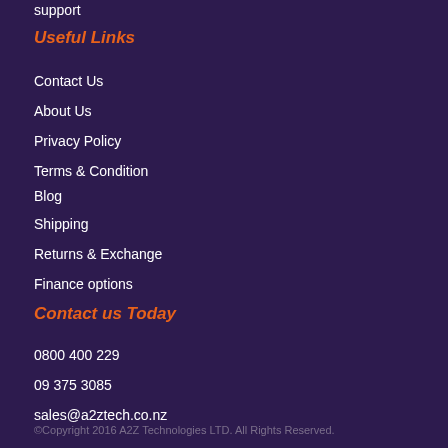support
Useful Links
Contact Us
About Us
Privacy Policy
Terms & Condition
Blog
Shipping
Returns & Exchange
Finance options
Contact us Today
0800 400 229
09 375 3085
sales@a2ztech.co.nz
©Copyright 2016 A2Z Technologies LTD. All Rights Reserved.